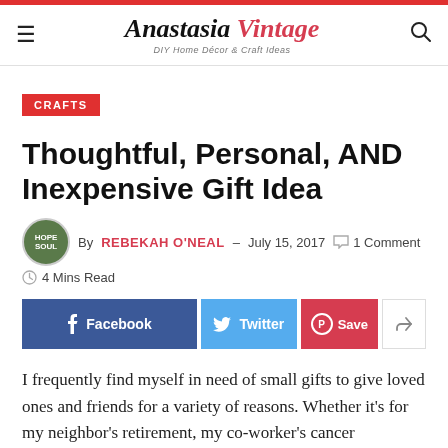Anastasia Vintage – DIY Home Décor & Craft Ideas
CRAFTS
Thoughtful, Personal, AND Inexpensive Gift Idea
By REBEKAH O'NEAL – July 15, 2017 1 Comment 4 Mins Read
I frequently find myself in need of small gifts to give loved ones and friends for a variety of reasons. Whether it's for my neighbor's retirement, my co-worker's cancer diagnosis,